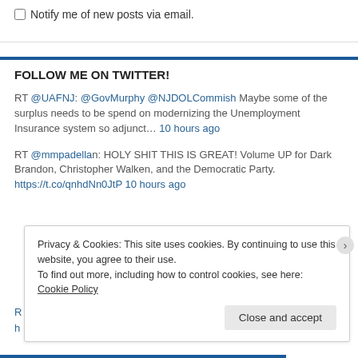Notify me of new posts via email.
FOLLOW ME ON TWITTER!
RT @UAFNJ: @GovMurphy @NJDOLCommish Maybe some of the surplus needs to be spend on modernizing the Unemployment Insurance system so adjunct… 10 hours ago
RT @mmpadella: HOLY SHIT THIS IS GREAT! Volume UP for Dark Brandon, Christopher Walken, and the Democratic Party. https://t.co/qnhdNn0JtP 10 hours ago
Privacy & Cookies: This site uses cookies. By continuing to use this website, you agree to their use. To find out more, including how to control cookies, see here: Cookie Policy
Close and accept